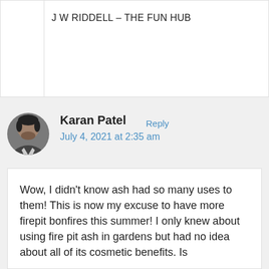J W RIDDELL – THE FUN HUB
Reply
Karan Patel
July 4, 2021 at 2:35 am
Wow, I didn't know ash had so many uses to them! This is now my excuse to have more firepit bonfires this summer! I only knew about using fire pit ash in gardens but had no idea about all of its cosmetic benefits. Is